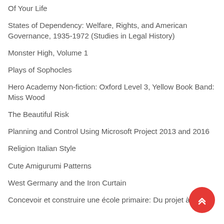Of Your Life
States of Dependency: Welfare, Rights, and American Governance, 1935-1972 (Studies in Legal History)
Monster High, Volume 1
Plays of Sophocles
Hero Academy Non-fiction: Oxford Level 3, Yellow Book Band: Miss Wood
The Beautiful Risk
Planning and Control Using Microsoft Project 2013 and 2016
Religion Italian Style
Cute Amigurumi Patterns
West Germany and the Iron Curtain
Concevoir et construire une école primaire: Du projet à